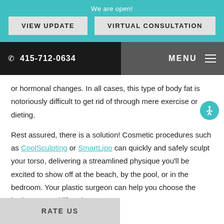We are open!
VIEW UPDATE
VIRTUAL CONSULTATION
415-712-0634
MENU
or hormonal changes. In all cases, this type of body fat is notoriously difficult to get rid of through mere exercise or dieting.
Rest assured, there is a solution! Cosmetic procedures such as CoolSculpting or SmartLipo can quickly and safely sculpt your torso, delivering a streamlined physique you'll be excited to show off at the beach, by the pool, or in the bedroom. Your plastic surgeon can help you choose the body type, and lifestyle.
RATE US